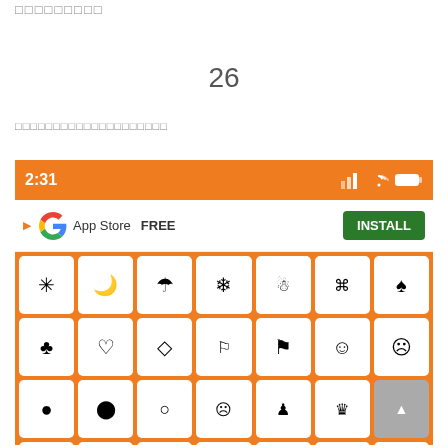□□□□□□□□□
26
□□□□□□□□□□□□□□□□□□□□
[Figure (screenshot): Mobile app screenshot showing an orange status bar with time 2:31, an ad bar with Google logo, App Store, FREE, and INSTALL button, and an emoji/symbol keyboard with white keys on orange background showing various symbols including sun, moon, umbrella, snowflake, snowman, command key, spade, club, heart, diamond, flags, smiley faces, circles, chess pieces, and more rows partially visible.]